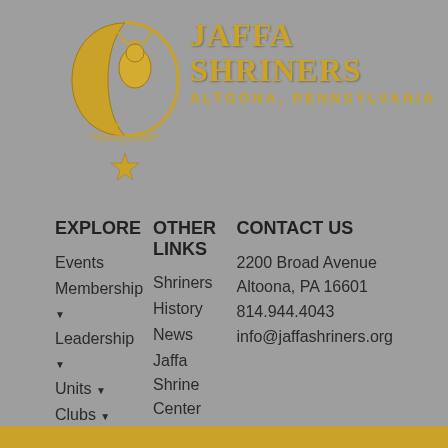[Figure (logo): Jaffa Shriners emblem — gold crescent moon with figure, star below, decorative elements]
JAFFA SHRINERS
ALTOONA, PENNSYLVANIA
EXPLORE
Events
Membership ▾
Leadership ▾
Units ▾
Clubs ▾
Donate
OTHER LINKS
Shriners
History
News
Jaffa Shrine Center
Contact
CONTACT US
2200 Broad Avenue
Altoona, PA 16601
814.944.4043
info@jaffashriners.org